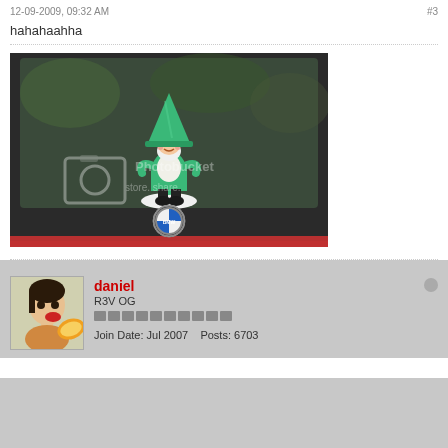12-09-2009, 09:32 AM    #3
hahahaahha
[Figure (photo): A garden gnome figurine wearing a green hat and outfit, placed on top of a BMW car badge on the rear of a dark BMW vehicle. The image has a Photobucket watermark.]
daniel
R3V OG
Join Date: Jul 2007    Posts: 6703